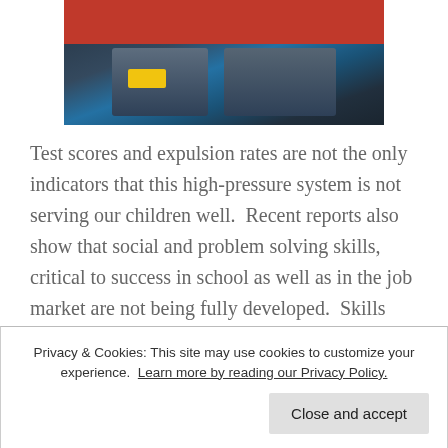[Figure (photo): Partial image of a child, cropped at top of page, showing colorful clothing against a red background]
Test scores and expulsion rates are not the only indicators that this high-pressure system is not serving our children well.  Recent reports also show that social and problem solving skills, critical to success in school as well as in the job market are not being fully developed.  Skills like persistence, creativity, cooperation, and communication are being left by the wayside in an
Privacy & Cookies: This site may use cookies to customize your experience. Learn more by reading our Privacy Policy.
Close and accept